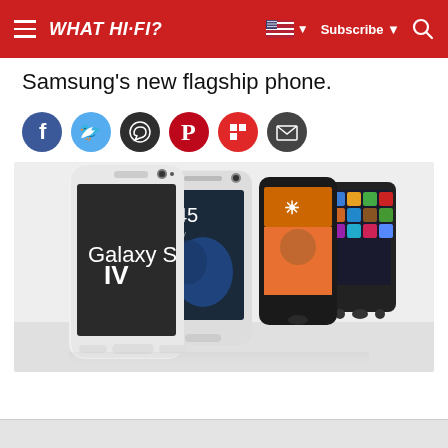WHAT HI-FI? | Subscribe | Search
Samsung's new flagship phone.
[Figure (other): Social sharing icons: Facebook (blue), Twitter (light blue), WhatsApp (dark), Pinterest (red), Flipboard (red), Email (dark)]
[Figure (photo): Multiple Samsung Galaxy smartphones shown side by side: the Galaxy S IV in the foreground (white, with dark screen showing 'Galaxy S IV' text), along with Galaxy S3, S2, and S1 models behind it, fanning out from left to right.]